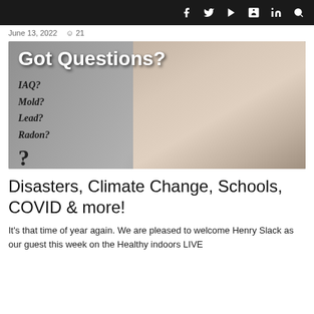Social media navigation icons and search
June 13, 2022  ☺ 21
[Figure (photo): A surprised man with wide eyes and open mouth against a gray background, with text overlay reading 'Got Questions? IAQ? Mold? Lead? Radon? ?' in bold and italic fonts]
Disasters, Climate Change, Schools, COVID & more!
It's that time of year again. We are pleased to welcome Henry Slack as our guest this week on the Healthy indoors LIVE